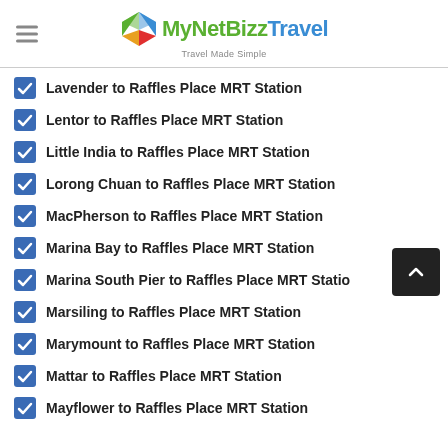MyNetBizz Travel — Travel Made Simple
Lavender to Raffles Place MRT Station
Lentor to Raffles Place MRT Station
Little India to Raffles Place MRT Station
Lorong Chuan to Raffles Place MRT Station
MacPherson to Raffles Place MRT Station
Marina Bay to Raffles Place MRT Station
Marina South Pier to Raffles Place MRT Station
Marsiling to Raffles Place MRT Station
Marymount to Raffles Place MRT Station
Mattar to Raffles Place MRT Station
Mayflower to Raffles Place MRT Station